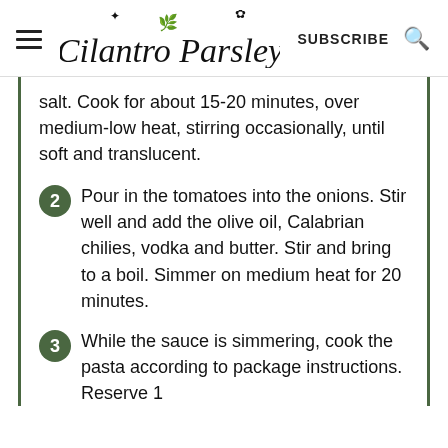Cilantro Parsley — SUBSCRIBE
salt. Cook for about 15-20 minutes, over medium-low heat, stirring occasionally, until soft and translucent.
2 Pour in the tomatoes into the onions. Stir well and add the olive oil, Calabrian chilies, vodka and butter. Stir and bring to a boil. Simmer on medium heat for 20 minutes.
3 While the sauce is simmering, cook the pasta according to package instructions. Reserve 1